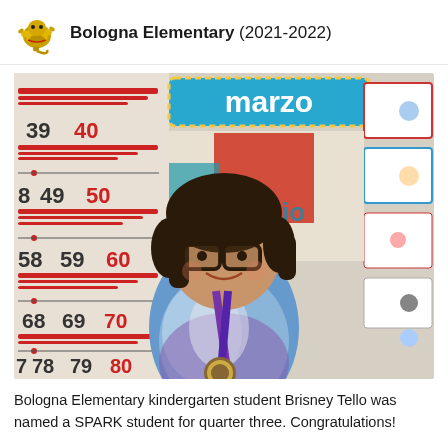Bologna Elementary (2021-2022)
[Figure (photo): A young girl (kindergarten student Brisney Tello) wearing glasses and a tie-dye blue and purple shirt with a medal, standing in front of a classroom wall with educational posters including one labeled 'marzo' (March in Spanish) and number charts.]
Bologna Elementary kindergarten student Brisney Tello was named a SPARK student for quarter three. Congratulations!